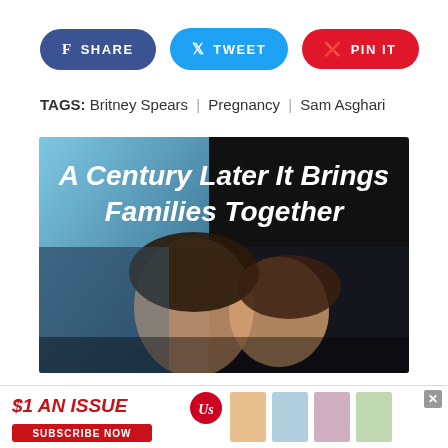[Figure (other): Social share buttons: SHARE (Facebook, blue), TWEET (Twitter, cyan), PIN IT (Pinterest, red)]
TAGS: Britney Spears | Pregnancy | Sam Asghari
[Figure (infographic): Advertisement image showing a parent and child with text 'A Century Later It Brings Families Together' overlaid on a half blue/half dark background]
[Figure (infographic): Bottom advertisement banner: $1 AN ISSUE, SUBSCRIBE NOW, with magazine covers for Us Weekly]